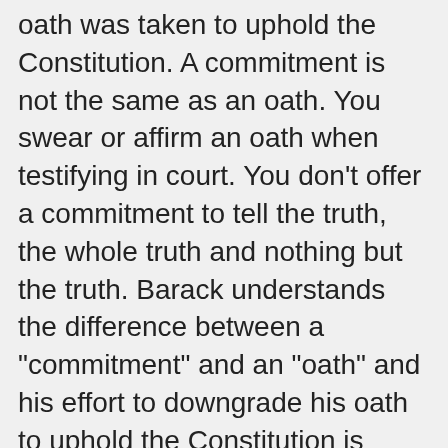oath was taken to uphold the Constitution. A commitment is not the same as an oath. You swear or affirm an oath when testifying in court. You don't offer a commitment to tell the truth, the whole truth and nothing but the truth. Barack understands the difference between a "commitment" and an "oath" and his effort to downgrade his oath to uphold the Constitution is worrisome. To become President of the United States, you have to take the oath. When JFK was assassinated, before LBJ could be President, LBJ had to take the oath. Here's the oath required by the Constitution (Article II, Section 1):
I do solemnly swear (or affirm) that I will faithfully execute the Office of President of the United States, and will to the best of my Ability, preserve, protect and defend the Constitution of the United States.
This isn't a personal promise or a goal, it is an oath. The lies are becoming so thick, the administration is choking on them. Anita Kumar (McClatchy